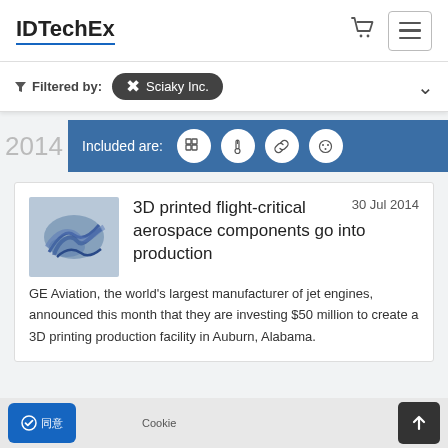IDTechEx
Filtered by: Sciaky Inc.
2014  Included are:
3D printed flight-critical aerospace components go into production
30 Jul 2014
GE Aviation, the world's largest manufacturer of jet engines, announced this month that they are investing $50 million to create a 3D printing production facility in Auburn, Alabama.
Cookie 同意 · 接受